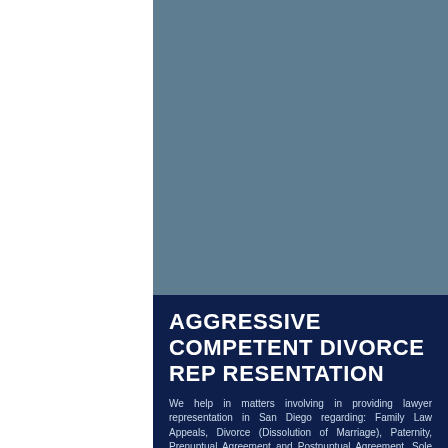[Figure (photo): Blue-grey background photo area occupying the upper right portion of the page]
AGGRESSIVE COMPETENT DIVORCE REPRESENTATION
We help in matters involving in providing lawyer representation in San Diego regarding: Family Law Appeals, Divorce (Dissolution of Marriage), Paternity, Prenuptual Agreement and Postnuptual Agreement, Sole Physical Child Custody, Joint Physical Child Custody, Sole Legal Custody, Joint Legal Custody, and Child Visitation, Child Support, Spousal Support